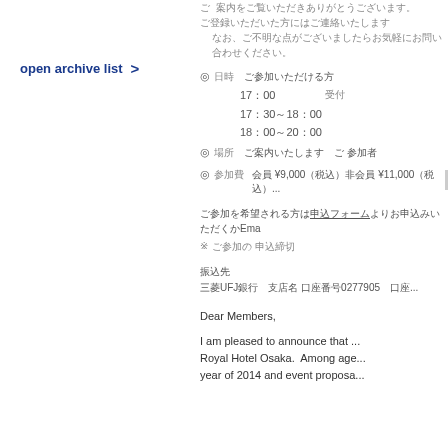Japanese text block (top right): header information in Japanese
open archive list >
◎日時　Japanese text
　17：00　Japanese
　17：30～18：00
　18：00～20：00
◎場所　Japanese text
◎参加費　￥9,000（税込）￥11,000（税込）...
Email registration text in Japanese with Email link
※　Japanese note text
振込先
三菱UFJ銀行　支店名 口座番号0277905　口座...
Dear Members,
I am pleased to announce that ... Royal Hotel Osaka.  Among age... year of 2014 and event proposa...